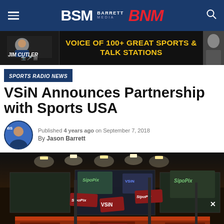BSM Barrett Media BNM
[Figure (advertisement): Jim Cutler - Voice of 100+ Great Sports & Talk Stations advertisement banner]
SPORTS RADIO NEWS
VSiN Announces Partnership with Sports USA
Published 4 years ago on September 7, 2018 By Jason Barrett
[Figure (photo): Interior photo of a sports broadcasting studio showing VSiN and SportsPass signage with TV screens, studio lighting, and broadcast equipment]